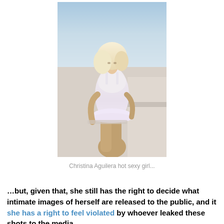[Figure (photo): A blonde woman in a white mini dress standing on a balcony outdoors]
Christina Aguilera hot sexy girl...
…but, given that, she still has the right to decide what intimate images of herself are released to the public, and it she has a right to feel violated by whoever leaked these shots to the media.